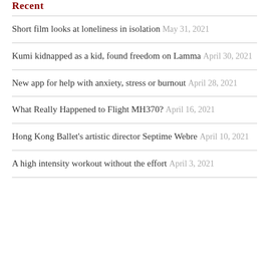Recent
Short film looks at loneliness in isolation May 31, 2021
Kumi kidnapped as a kid, found freedom on Lamma April 30, 2021
New app for help with anxiety, stress or burnout April 28, 2021
What Really Happened to Flight MH370? April 16, 2021
Hong Kong Ballet's artistic director Septime Webre April 10, 2021
A high intensity workout without the effort April 3, 2021